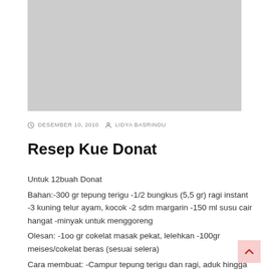[Figure (photo): Gray placeholder image rectangle at the top of the page]
DESEMBER 10, 2010   LIDYA BASRINDU
Resep Kue Donat
Untuk 12buah Donat
Bahan:-300 gr tepung terigu -1/2 bungkus (5,5 gr) ragi instant -3 kuning telur ayam, kocok -2 sdm margarin -150 ml susu cair hangat -minyak untuk menggoreng
Olesan: -100 gr cokelat masak pekat, lelehkan -100gr meises/cokelat beras (sesuai selera)
Cara membuat: -Campur tepung terigu dan ragi, aduk hingga rata